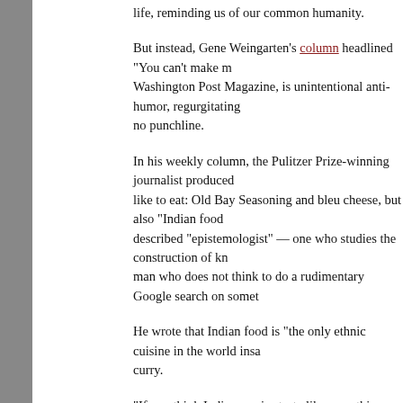life, reminding us of our common humanity.
But instead, Gene Weingarten’s column headlined “You can’t make r... Washington Post Magazine, is unintentional anti-humor, regurgitating... no punchline.
In his weekly column, the Pulitzer Prize-winning journalist produced... like to eat: Old Bay Seasoning and bleu cheese, but also “Indian food... described “epistemologist” — one who studies the construction of kn... man who does not think to do a rudimentary Google search on somet...
He wrote that Indian food is “the only ethnic cuisine in the world insa... curry.
“If you think Indian curries taste like something that could knock a v... like Indian food,” he wrote. “I don’t get it, as a culinary principle.”
My issue is not his performative contrarianism (though it is tedious) o... tasted did not please him — but that his writing, besides being racist a...
For generations, people have slung racist insults about the “stinky” fo... garlic, Irish with cabbage, Koreans with kimchi and, yes, South Asian...
On the heels of a pandemic that particularly devastated India and a cu...